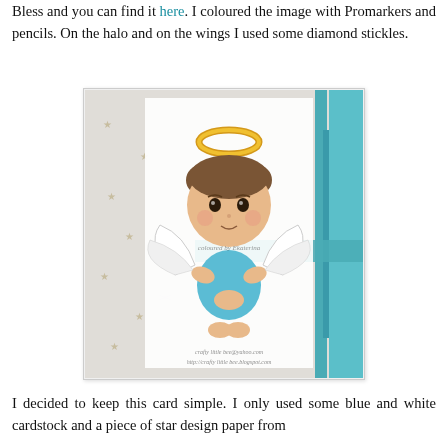Bless and you can find it here. I coloured the image with Promarkers and pencils. On the halo and on the wings I used some diamond stickles.
[Figure (photo): A hand-coloured angel girl stamp on a card. The angel has brown hair in two buns, a golden glittery halo, white wings, and wears a blue dress. She is kneeling with hands clasped. The background card has teal/blue cardstock layers and a starry pattern. Watermarks read 'coloured by Ekaterina' and 'crafty little bee@yahoo.com http://crafty little bee.blogspot.com']
I decided to keep this card simple. I only used some blue and white cardstock and a piece of star design paper from